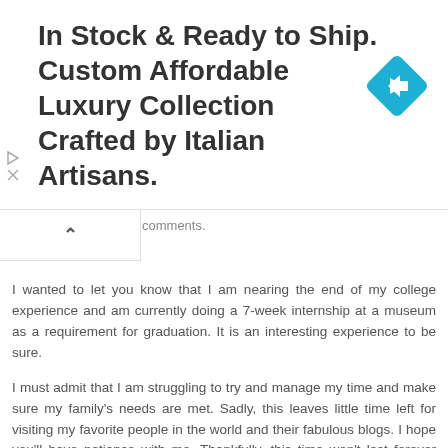[Figure (other): Advertisement banner: 'In Stock & Ready to Ship. Custom Affordable Luxury Collection Crafted by Italian Artisans.' with a blue diamond/arrow icon on the right and ad controls on the left.]
comments.
I wanted to let you know that I am nearing the end of my college experience and am currently doing a 7-week internship at a museum as a requirement for graduation. It is an interesting experience to be sure.
I must admit that I am struggling to try and manage my time and make sure my family's needs are met. Sadly, this leaves little time left for visiting my favorite people in the world and their fabulous blogs. I hope you'll have patience with me. Thankfully, this time won't last forever and I will soon, once again, be able to see all the wonderful things you are doing.
May glorious weather and lovely flowers put a spring in your step,
Laura